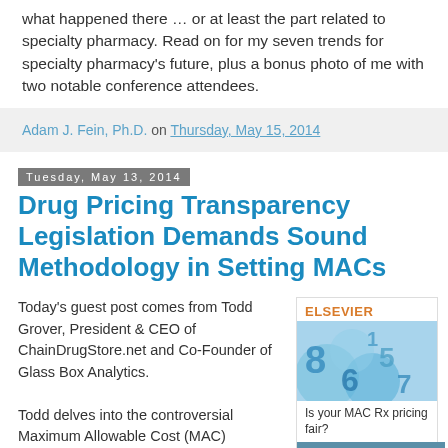what happened there … or at least the part related to specialty pharmacy. Read on for my seven trends for specialty pharmacy's future, plus a bonus photo of me with two notable conference attendees.
Adam J. Fein, Ph.D. on Thursday, May 15, 2014
Tuesday, May 13, 2014
Drug Pricing Transparency Legislation Demands Sound Methodology in Setting MACs
Today's guest post comes from Todd Grover, President & CEO of ChainDrugStore.net and Co-Founder of Glass Box Analytics.

Todd delves into the controversial Maximum Allowable Cost (MAC)
[Figure (other): Elsevier advertisement showing blue numbers (8, 6, 5, 7, 1) on a blue gradient background with text 'Is your MAC Rx pricing fair?' and a 'Learn More' button]